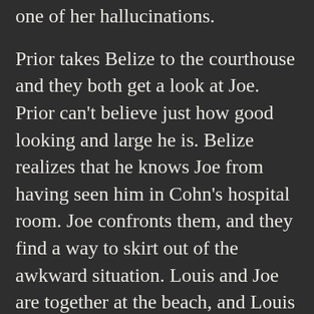one of her hallucinations.

Prior takes Belize to the courthouse and they both get a look at Joe. Prior can't believe just how good looking and large he is. Belize realizes that he knows Joe from having seen him in Cohn's hospital room. Joe confronts them, and they find a way to skirt out of the awkward situation. Louis and Joe are together at the beach, and Louis has just told Joe that he wants to go try and repair his relationship with Prior. Joe rips off his temple garments on the beach and yells that Louis will come back to him eventually, and Louis helps him get some clothing back on, but does leave. Prior then confronts Louis, who has come to apologize, and he tells him that he shouldn't